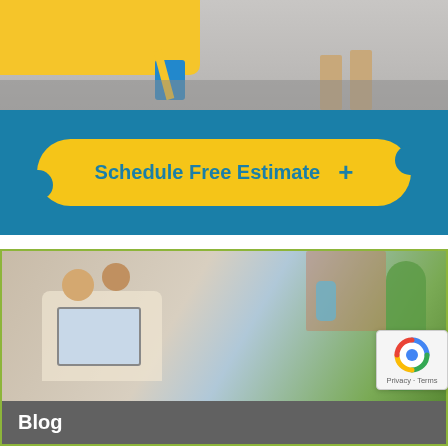[Figure (photo): Photo of cleaning crew or vehicle at the top of the page, partially visible, showing a yellow car/van and people with cleaning supplies on asphalt]
[Figure (infographic): Blue banner with a yellow rounded-rectangle CTA button reading 'Schedule Free Estimate' with a plus sign]
[Figure (photo): Blog section card with olive-green border. Top portion shows a photo of a couple on a couch looking at a laptop, with plants and brick wall in background. Bottom shows a grey bar labeled 'Blog']
Home Clean Heroes is Fighting Hun Across Locations
[Figure (other): reCAPTCHA widget badge in bottom right corner with Privacy - Terms text]